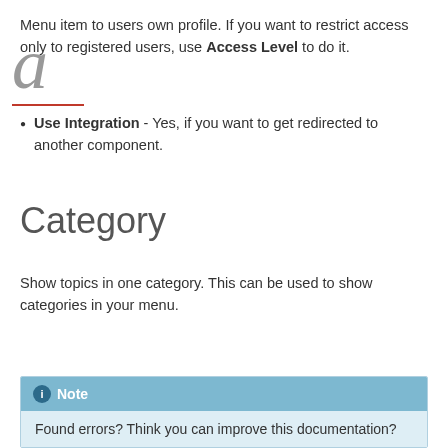Menu item to users own profile. If you want to restrict access only to registered users, use Access Level to do it.
Use Integration - Yes, if you want to get redirected to another component.
Category
Show topics in one category. This can be used to show categories in your menu.
Note
Found errors? Think you can improve this documentation?